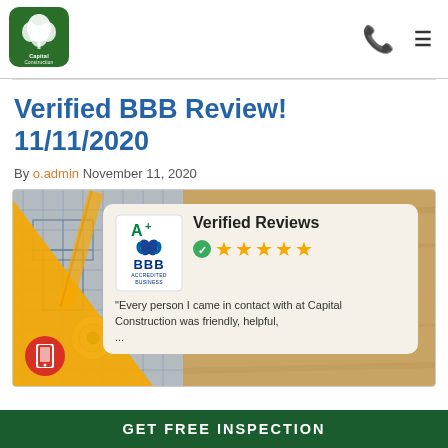[Figure (logo): Capital Construction company logo — green rounded square with white oak leaf and company name]
Phone icon and hamburger menu icon
Verified BBB Review! 11/11/2020
By o.admin November 11, 2020
[Figure (screenshot): BBB Accredited Business badge card with A+ rating, 5 gold stars, Verified Reviews heading, and partial review quote: "Every person I came in contact with at Capital Construction was friendly, helpful, ..."]
GET FREE INSPECTION